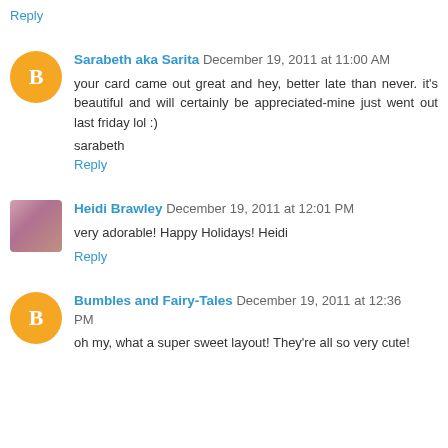Reply
Sarabeth aka Sarita  December 19, 2011 at 11:00 AM
your card came out great and hey, better late than never. it's beautiful and will certainly be appreciated-mine just went out last friday lol :)
sarabeth
Reply
Heidi Brawley  December 19, 2011 at 12:01 PM
very adorable! Happy Holidays! Heidi
Reply
Bumbles and Fairy-Tales  December 19, 2011 at 12:36 PM
oh my, what a super sweet layout! They're all so very cute!